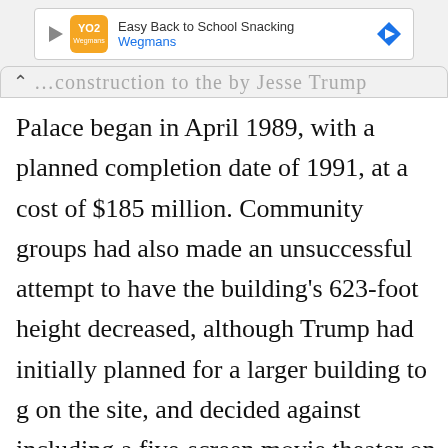[Figure (other): Advertisement banner for Wegmans 'Easy Back to School Snacking']
...construction of the by Jesse Trump Palace began in April 1989, with a planned completion date of 1991, at a cost of $185 million. Community groups had also made an unsuccessful attempt to have the building's 623-foot height decreased, although Trump had initially planned for a larger building to go on the site, and decided against including a five-screen movie theater on the property.[1]
The tower was also for its exterior design d...